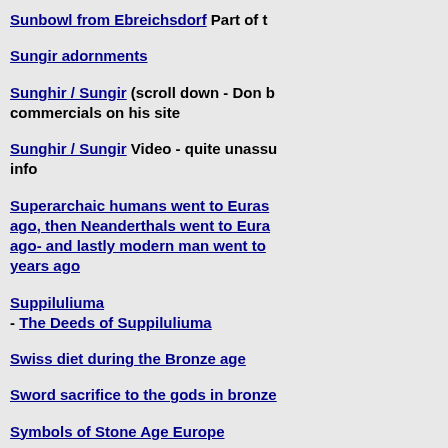Sunbowl from Ebreichsdorf Part of t
Sungir adornments
Sunghir / Sungir (scroll down - Don b... commercials on his site
Sunghir / Sungir Video - quite unassu... info
Superarchaic humans went to Euras... ago, then Neanderthals went to Eura... ago- and lastly modern man went to ... years ago
Suppiluliuma - The Deeds of Suppiluliuma
Swiss diet during the Bronze age
Sword sacrifice to the gods in bronze
Symbols of Stone Age Europe